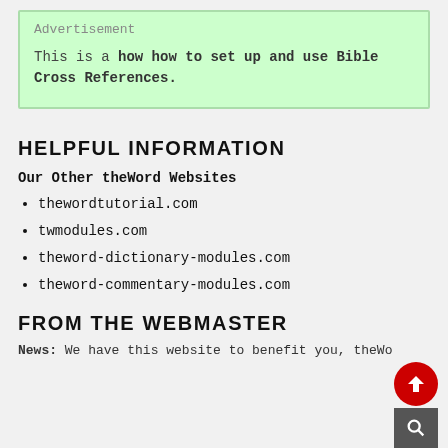Advertisement
This is a how how to set up and use Bible Cross References.
HELPFUL INFORMATION
Our Other theWord Websites
thewordtutorial.com
twmodules.com
theword-dictionary-modules.com
theword-commentary-modules.com
FROM THE WEBMASTER
News: We have this website to benefit you, theWo...